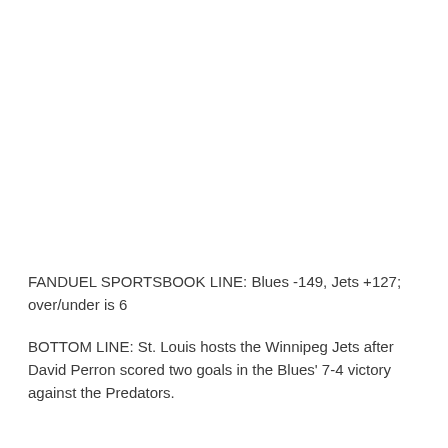FANDUEL SPORTSBOOK LINE: Blues -149, Jets +127; over/under is 6
BOTTOM LINE: St. Louis hosts the Winnipeg Jets after David Perron scored two goals in the Blues' 7-4 victory against the Predators.